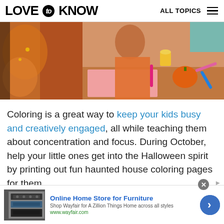LOVE to KNOW  ALL TOPICS
[Figure (photo): Children in Halloween costumes doing arts and crafts, coloring and drawing at a table with pumpkins and markers]
Coloring is a great way to keep your kids busy and creatively engaged, all while teaching them about concentration and focus. During October, help your little ones get into the Halloween spirit by printing out fun haunted house coloring pages for them.
Online Home Store for Furniture
Shop Wayfair for A Zillion Things Home across all styles
www.wayfair.com